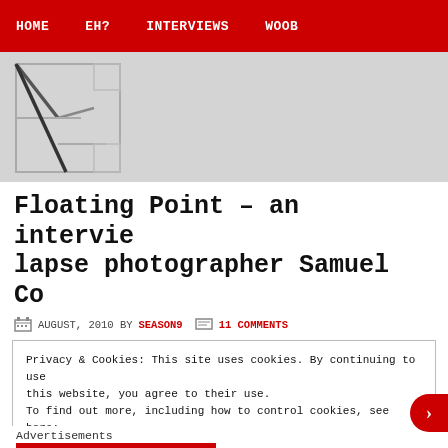HOME   EH?   INTERVIEWS   WOOB
[Figure (logo): Website logo: large stylized letter E made of geometric lines on gray background]
Floating Point – an interview with time-lapse photographer Samuel Co...
AUGUST, 2010 BY SEASON9   11 COMMENTS
Privacy & Cookies: This site uses cookies. By continuing to use this website, you agree to their use.
To find out more, including how to control cookies, see here:
Cookie Policy
Close and accept
Advertisements